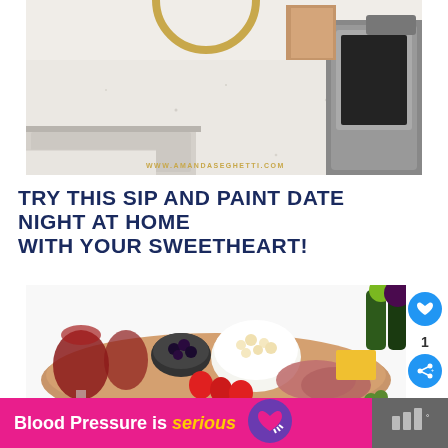[Figure (photo): Kitchen countertop scene with granite/quartz surface, sink area visible bottom left, coffee maker on right, circular gold decorative element at top, watermark WWW.AMANDASEGHETTI.COM]
TRY THIS SIP AND PAINT DATE NIGHT AT HOME WITH YOUR SWEETHEART!
[Figure (photo): Charcuterie/snack board with red wine glasses, blackberries, strawberries, popcorn in white bowl, cheese, grapes, and cured meats on wooden board]
Blood Pressure is serious